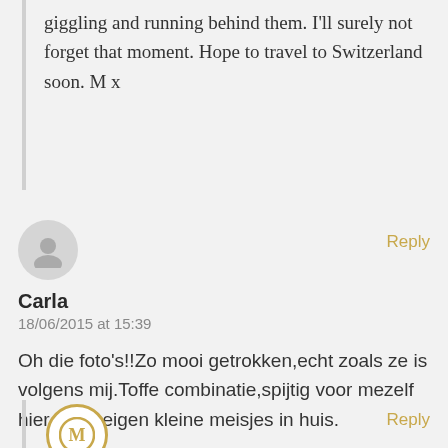giggling and running behind them. I'll surely not forget that moment. Hope to travel to Switzerland soon. M x
[Figure (illustration): Generic user avatar icon, circular gray silhouette]
Reply
Carla
18/06/2015 at 15:39
Oh die foto's!!Zo mooi getrokken,echt zoals ze is volgens mij.Toffe combinatie,spijtig voor mezelf hier geen eigen kleine meisjes in huis.
[Figure (logo): Circular M logo with gold/yellow border]
Reply